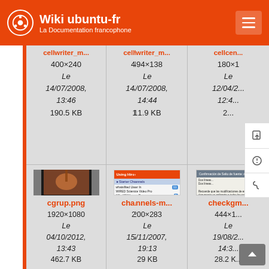Wiki ubuntu-fr — La Documentation francophone
[Figure (screenshot): Grid of image file tiles showing cellwriter_m... files (row 1) and cgrup.png, channels-m..., checkgm... files (row 2), with metadata including dimensions, dates, and file sizes]
400×240
Le 14/07/2008, 13:46
190.5 KB
494×138
Le 14/07/2008, 14:44
11.9 KB
180×1...
Le 12/04/... 12:4...
2...
cgrup.png
1920×1080
Le 04/10/2012, 13:43
462.7 KB
channels-m...
200×283
Le 15/11/2007, 19:13
29 KB
checkgm...
444×1...
Le 19/08/... 14:3...
28.2 K...